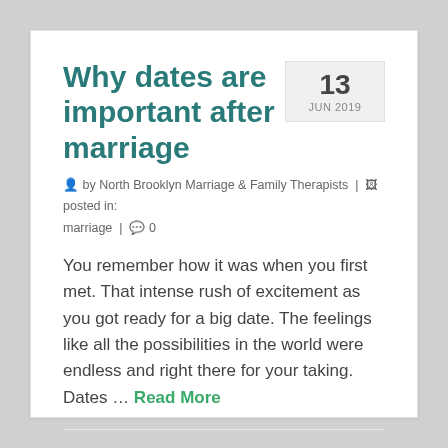Why dates are important after marriage
13 JUN 2019
by North Brooklyn Marriage & Family Therapists | posted in: marriage | 0
You remember how it was when you first met. That intense rush of excitement as you got ready for a big date. The feelings like all the possibilities in the world were endless and right there for your taking. Dates … Read More
couples therapy, date night, MARRIAGE COUNSELING, romance